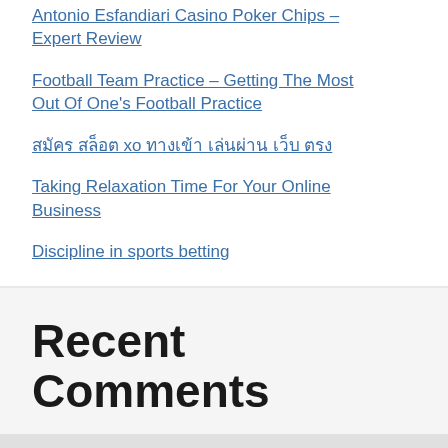Antonio Esfandiari Casino Poker Chips – Expert Review
Football Team Practice – Getting The Most Out Of One's Football Practice
สมัคร สล็อต xo ทางเข้า เล่นผ่าน เว็บ ตรง
Taking Relaxation Time For Your Online Business
Discipline in sports betting
Recent Comments
No comments to show.